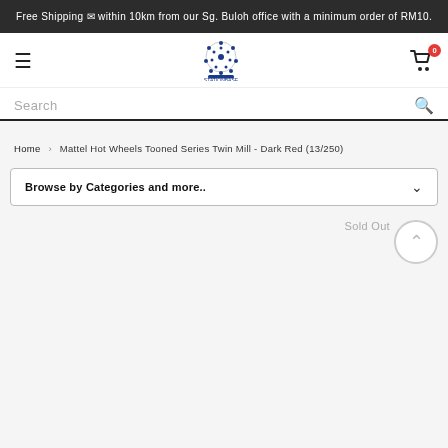Free Shipping 🚚 within 10km from our Sg. Buloh office with a minimum order of RM10.
[Figure (logo): StationBase logo with circular dot pattern and text below]
Search
Home › Mattel Hot Wheels Tooned Series Twin Mill - Dark Red (13/250)
Browse by Categories and more..
Sold Out